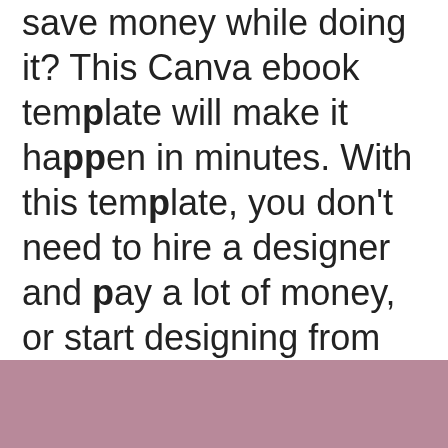save money while doing it? This Canva ebook template will make it happen in minutes. With this template, you don't need to hire a designer and pay a lot of money, or start designing from scratch.
[Figure (other): Solid mauve/dusty rose colored rectangle bar at the bottom of the page]